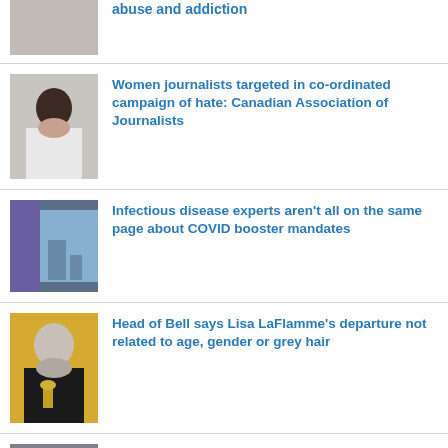abuse and addiction
Women journalists targeted in co-ordinated campaign of hate: Canadian Association of Journalists
Infectious disease experts aren't all on the same page about COVID booster mandates
Head of Bell says Lisa LaFlamme's departure not related to age, gender or grey hair
Six people reported missing